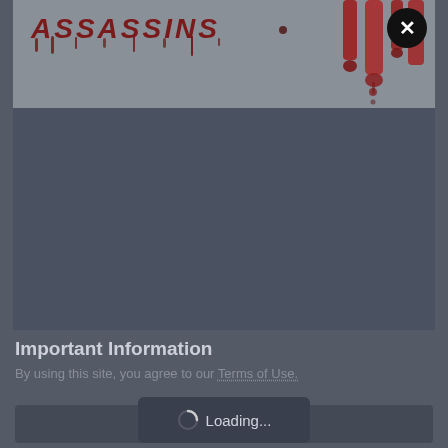[Figure (screenshot): Top portion of a webpage showing 'ASSASSINS' text with dripping blood-style letters in dark red, against a gray background, with bloody red crystal/icicle decorations on the right side. A black circular close (X) button is in the top-right corner.]
[Figure (screenshot): Dark grayish-blue panel area below the assassins image — appears to be an empty dark content area.]
Important Information
By using this site, you agree to our Terms of Use.
[Figure (screenshot): Loading overlay button with spinner icon and 'Loading...' text on a dark background.]